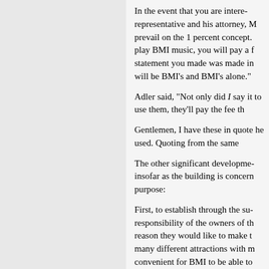In the event that you are interested, the representative and his attorney, M prevail on the 1 percent concept. play BMI music, you will pay a f statement you made was made in will be BMI's and BMI's alone."
Adler said, "Not only did I say it to use them, they'll pay the fee th
Gentlemen, I have these in quote he used. Quoting from the same
The other significant developmen insofar as the building is concern purpose:
First, to establish through the sui responsibility of the owners of th reason they would like to make t many different attractions with m convenient for BMI to be able to promoters.
Concert promoters from various to settle my case and that we wo